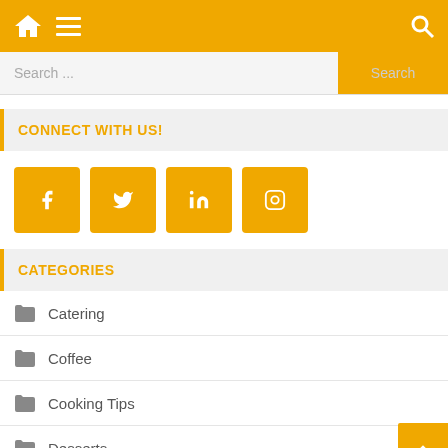Navigation bar with home, menu, and search icons
Search ...
CONNECT WITH US!
[Figure (other): Social media icon buttons for Facebook, Twitter, LinkedIn, and Instagram]
CATEGORIES
Catering
Coffee
Cooking Tips
Desserts
Featured